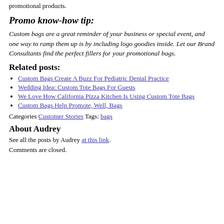promotional products.
Promo know-how tip:
Custom bags are a great reminder of your business or special event, and one way to ramp them up is by including logo goodies inside. Let our Brand Consultants find the perfect fillers for your promotional bags.
Related posts:
Custom Bags Create A Buzz For Pediatric Dental Practice
Wedding Idea: Custom Tote Bags For Guests
We Love How California Pizza Kitchen Is Using Custom Tote Bags
Custom Bags Help Promote, Well, Bags
Categories Customer Stories Tags: bags
About Audrey
See all the posts by Audrey at this link.
Comments are closed.